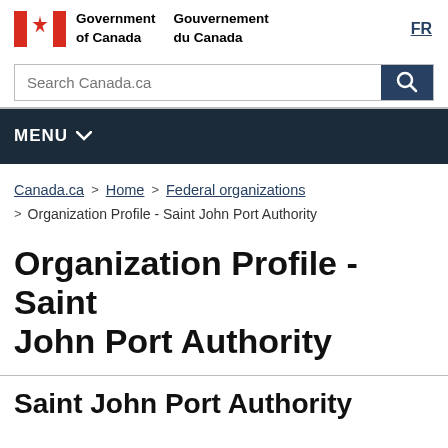[Figure (logo): Government of Canada / Gouvernement du Canada logo with Canadian flag]
FR
Search Canada.ca
MENU
Canada.ca > Home > Federal organizations > Organization Profile - Saint John Port Authority
Organization Profile - Saint John Port Authority
Saint John Port Authority